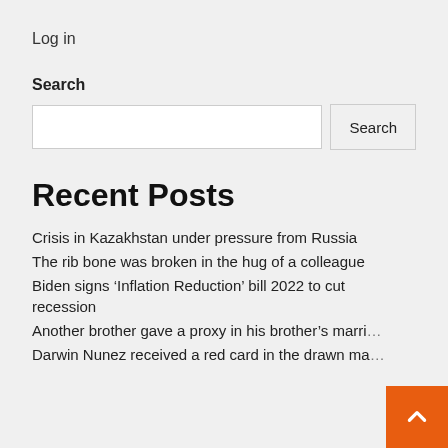Log in
Search
Search [input box] Search [button]
Recent Posts
Crisis in Kazakhstan under pressure from Russia
The rib bone was broken in the hug of a colleague
Biden signs ‘Inflation Reduction’ bill 2022 to cut recession
Another brother gave a proxy in his brother's marri…
Darwin Nunez received a red card in the drawn ma…